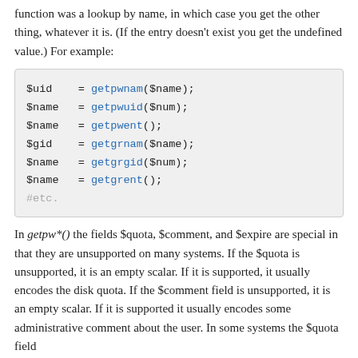function was a lookup by name, in which case you get the other thing, whatever it is. (If the entry doesn't exist you get the undefined value.) For example:
[Figure (screenshot): Code block showing Perl function calls: $uid = getpwnam($name); $name = getpwuid($num); $name = getpwent(); $gid = getgrnam($name); $name = getgrgid($num); $name = getgrent(); #etc.]
In getpw*() the fields $quota, $comment, and $expire are special in that they are unsupported on many systems. If the $quota is unsupported, it is an empty scalar. If it is supported, it usually encodes the disk quota. If the $comment field is unsupported, it is an empty scalar. If it is supported it usually encodes some administrative comment about the user. In some systems the $quota field